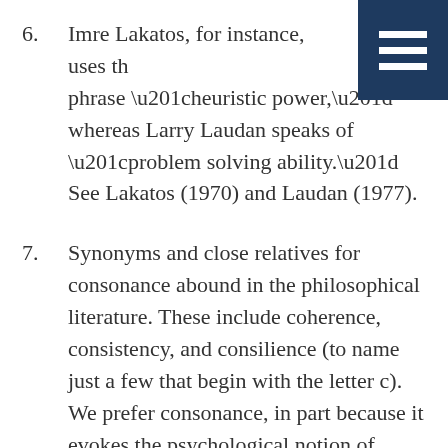6. Imre Lakatos, for instance, uses the phrase “heuristic power,” whereas Larry Laudan speaks of “problem solving ability.” See Lakatos (1970) and Laudan (1977).
7. Synonyms and close relatives for consonance abound in the philosophical literature. These include coherence, consistency, and consilience (to name just a few that begin with the letter c). We prefer consonance, in part because it evokes the psychological notion of cognitive dissonance. Among theologians concerned with theology-